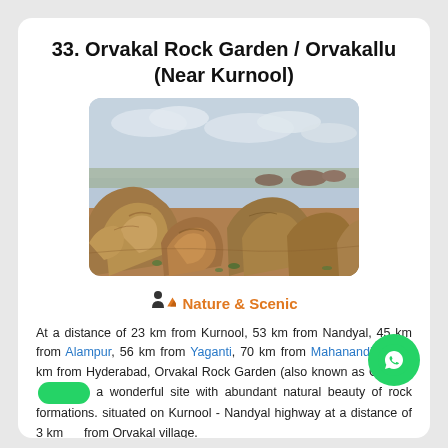33. Orvakal Rock Garden / Orvakallu (Near Kurnool)
[Figure (photo): Photo of Orvakal Rock Garden showing large brown rocky formations and boulders spread across a flat landscape under a cloudy sky]
Nature & Scenic
At a distance of 23 km from Kurnool, 53 km from Nandyal, 45 km from Alampur, 56 km from Yaganti, 70 km from Mahanandi & 237 km from Hyderabad, Orvakal Rock Garden (also known as Orvakallu is a wonderful site with abundant natural beauty of rock formations. It is situated on Kurnool - Nandyal highway at a distance of 3 km from Orvakal village.